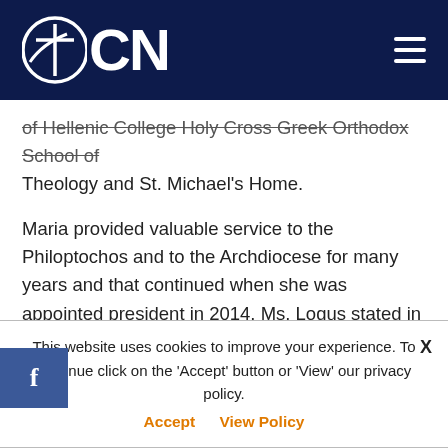OCN
of Hellenic College Holy Cross Greek Orthodox School of Theology and St. Michael's Home.
Maria provided valuable service to the Philoptochos and to the Archdiocese for many years and that continued when she was appointed president in 2014. Ms. Logus stated in interview with The National Herald in 2014, that 'Philoptochos doesn't have the luxury of any single priority. We live in a
n increasingly complex world, and we have to be prepared to respond to multiple challenges, both anticipated and
This website uses cookies to improve your experience. To continue click on the 'Accept' button or 'View' our privacy policy. Accept   View Policy